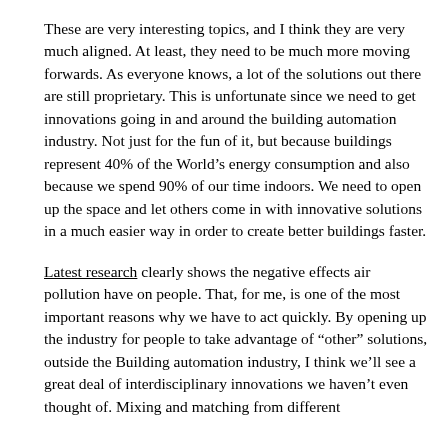These are very interesting topics, and I think they are very much aligned. At least, they need to be much more moving forwards. As everyone knows, a lot of the solutions out there are still proprietary. This is unfortunate since we need to get innovations going in and around the building automation industry. Not just for the fun of it, but because buildings represent 40% of the World’s energy consumption and also because we spend 90% of our time indoors. We need to open up the space and let others come in with innovative solutions in a much easier way in order to create better buildings faster.
Latest research clearly shows the negative effects air pollution have on people. That, for me, is one of the most important reasons why we have to act quickly. By opening up the industry for people to take advantage of “other” solutions, outside the Building automation industry, I think we’ll see a great deal of interdisciplinary innovations we haven’t even thought of. Mixing and matching from different